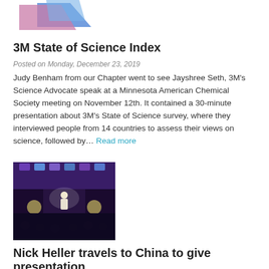[Figure (photo): Partial view of a colorful geometric logo with blue and pink diamond shapes, cropped at top of page.]
3M State of Science Index
Posted on Monday, December 23, 2019
Judy Benham from our Chapter went to see Jayshree Seth, 3M's Science Advocate speak at a Minnesota American Chemical Society meeting on November 12th. It contained a 30-minute presentation about 3M's State of Science survey, where they interviewed people from 14 countries to assess their views on science, followed by… Read more
[Figure (photo): Conference hall photo with purple/blue ceiling lights, a speaker on stage in front of a large audience, with round organizational logos visible on stage banners.]
Nick Heller travels to China to give presentation
Posted on Friday, December 13, 2019
While Nick Heller was unable to attend our annual Scholar event this year, he wrote a wonderful summary of the conference that he attended in China: